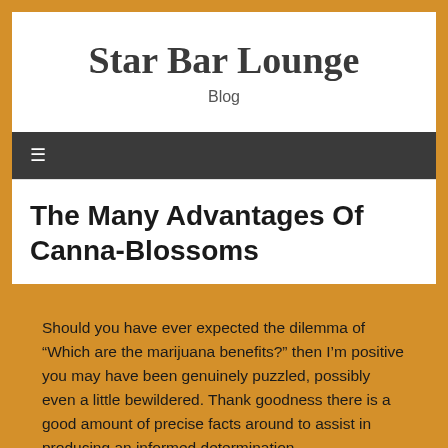Star Bar Lounge
Blog
The Many Advantages Of Canna-Blossoms
Should you have ever expected the dilemma of “Which are the marijuana benefits?” then I’m positive you may have been genuinely puzzled, possibly even a little bewildered. Thank goodness there is a good amount of precise facts around to assist in producing an informed determination